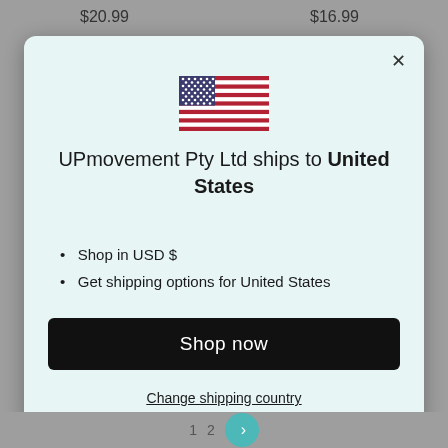$20.99
$16.99
[Figure (illustration): US flag emoji/icon displayed at top center of modal dialog]
UPmovement Pty Ltd ships to United States
Shop in USD $
Get shipping options for United States
Shop now
Change shipping country
1  2  >